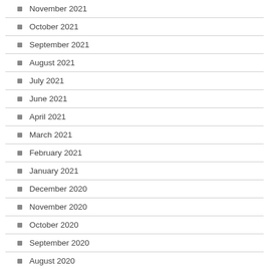November 2021
October 2021
September 2021
August 2021
July 2021
June 2021
April 2021
March 2021
February 2021
January 2021
December 2020
November 2020
October 2020
September 2020
August 2020